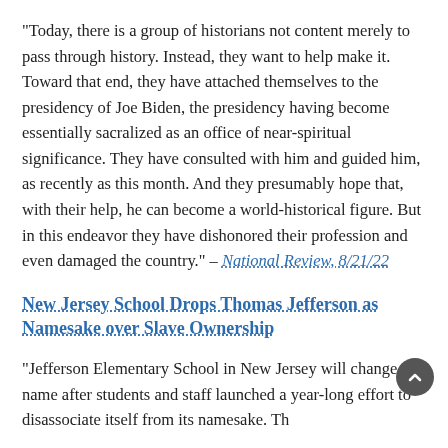"Today, there is a group of historians not content merely to pass through history. Instead, they want to help make it. Toward that end, they have attached themselves to the presidency of Joe Biden, the presidency having become essentially sacralized as an office of near-spiritual significance. They have consulted with him and guided him, as recently as this month. And they presumably hope that, with their help, he can become a world-historical figure. But in this endeavor they have dishonored their profession and even damaged the country." – National Review, 8/21/22
New Jersey School Drops Thomas Jefferson as Namesake over Slave Ownership
"Jefferson Elementary School in New Jersey will change its name after students and staff launched a year-long effort to disassociate itself from its namesake. The…